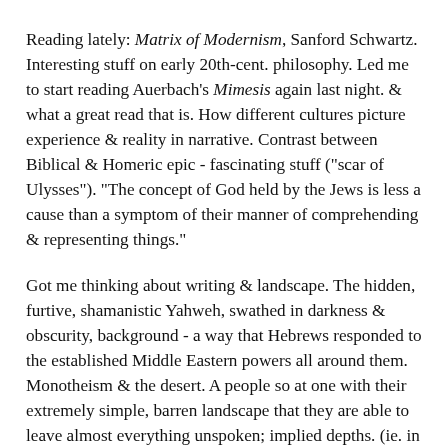Reading lately: Matrix of Modernism, Sanford Schwartz. Interesting stuff on early 20th-cent. philosophy. Led me to start reading Auerbach's Mimesis again last night. & what a great read that is. How different cultures picture experience & reality in narrative. Contrast between Biblical & Homeric epic - fascinating stuff ("scar of Ulysses"). "The concept of God held by the Jews is less a cause than a symptom of their manner of comprehending & representing things."
Got me thinking about writing & landscape. The hidden, furtive, shamanistic Yahweh, swathed in darkness & obscurity, background - a way that Hebrews responded to the established Middle Eastern powers all around them. Monotheism & the desert. A people so at one with their extremely simple, barren landscape that they are able to leave almost everything unspoken; implied depths. (ie. in Sacred Discontent, another great book.) The Greeks, in contrast - everything clean, out front, oversimplified. The response of close-knit mountain-steppe tribes scattered into a new terrain (always mapping out where everybody is - keeping everything in sight)? Confident, aristocratic power